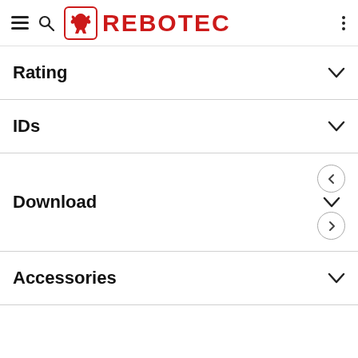REBOTEC
Rating
IDs
Download
Accessories